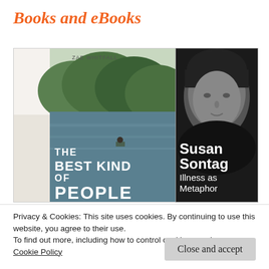Books and eBooks
[Figure (photo): Book cover of 'The Best Kind of People' — a book propped up showing a lake/forest scene with the title in large white uppercase letters]
[Figure (photo): Book cover of 'Illness as Metaphor' by Susan Sontag — black and white portrait photo of Susan Sontag with her name and title in large white text]
Privacy & Cookies: This site uses cookies. By continuing to use this website, you agree to their use.
To find out more, including how to control cookies, see here: Cookie Policy
Close and accept